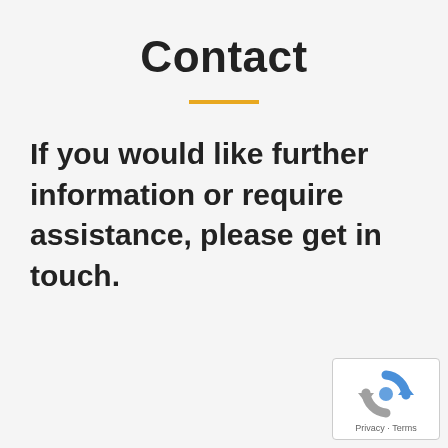Contact
If you would like further information or require assistance, please get in touch.
[Figure (other): reCAPTCHA badge with circular arrow icon and Privacy · Terms text]